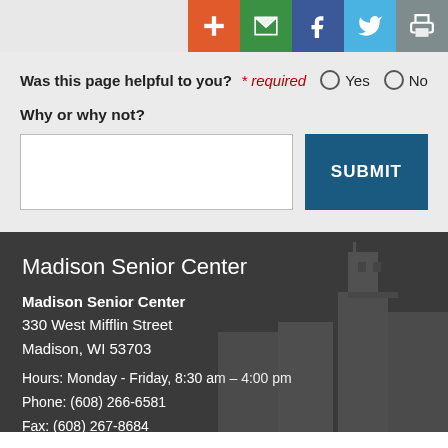[Figure (infographic): Social sharing toolbar with icons: plus (orange), email (green), Facebook (blue), Twitter (light blue), print (gray)]
Was this page helpful to you? * required  ○ Yes  ○ No
Why or why not?
SUBMIT
Madison Senior Center
Madison Senior Center
330 West Mifflin Street
Madison, WI 53703
Hours: Monday - Friday, 8:30 am – 4:00 pm
Phone: (608) 266-6581
Fax: (608) 267-8684